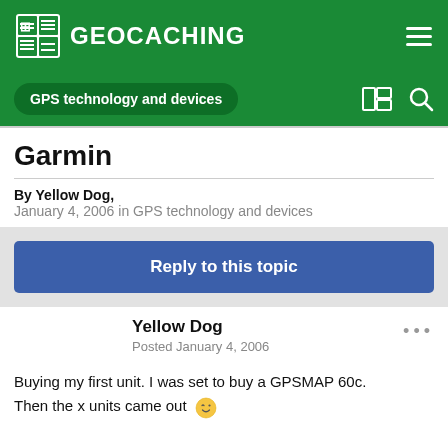GEOCACHING
GPS technology and devices
Garmin
By Yellow Dog,
January 4, 2006 in GPS technology and devices
Reply to this topic
Yellow Dog
Posted January 4, 2006
Buying my first unit. I was set to buy a GPSMAP 60c.
Then the x units came out 😉